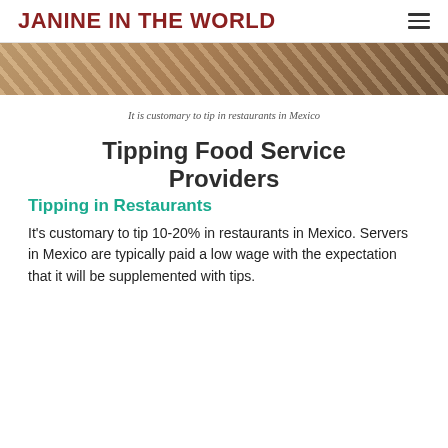JANINE IN THE WORLD
[Figure (photo): Partial photo of wooden elements, likely a restaurant or outdoor setting]
It is customary to tip in restaurants in Mexico
Tipping Food Service Providers
Tipping in Restaurants
It’s customary to tip 10-20% in restaurants in Mexico. Servers in Mexico are typically paid a low wage with the expectation that it will be supplemented with tips.